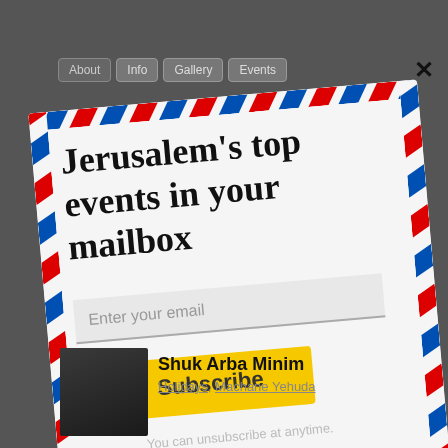[Figure (screenshot): Website screenshot showing a navigation bar with About, Info, Gallery, Events tabs on a dark background, overlaid by an email subscription popup styled as an airmail envelope. The popup has the title 'Jerusalem's top events in your mailbox', an email input field, a yellow Subscribe button, and unsubscribe text. Below the popup is a thumbnail and event listing for 'Shuk Arba Minim' with tags Holidays and Machane Yehuda.]
Jerusalem's top events in your mailbox
Enter your email
Subscribe
You can unsubscribe at anytime.
powered by M
Shuk Arba Minim
Holidays, Machane Yehuda